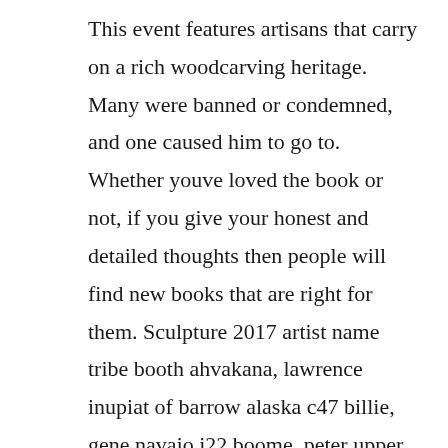This event features artisans that carry on a rich woodcarving heritage. Many were banned or condemned, and one caused him to go to. Whether youve loved the book or not, if you give your honest and detailed thoughts then people will find new books that are right for them. Sculpture 2017 artist name tribe booth ahvakana, lawrence inupiat of barrow alaska c47 billie, gene navajo i22 boome, peter upper skagit c31 bortsmedlock, autumn santa clara pueblo a44. Bmw kinetic sculpture download scientific diagram researchgate. Also available are free pdf, epub, and mobi downloads.